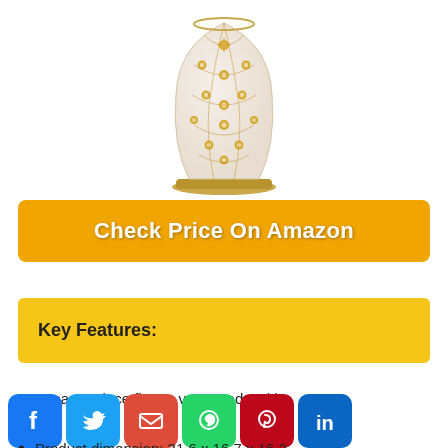[Figure (photo): Decorative flower vase with intricate gold floral pattern on white/cream background with gold trim base]
Check Price On Amazon
Key Features:
A masterpiece flower vase made with
Product dimension: 31.6 x 16.7 x 16.2
[Figure (infographic): Social media sharing icons: Facebook, Twitter, Email, WhatsApp, Pinterest, LinkedIn]